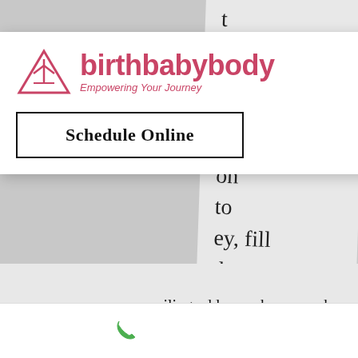[Figure (logo): birthbabybody logo with triangle/arrow icon and tagline 'Empowering Your Journey']
Schedule Online
mailing address, phone number, credit card information. Users may, however, visit our Site anonymously. We will collect personal identification information from Users only if they voluntarily submit such information to us. Users can always refuse to supply personally identification information, except that it may prevent them from
Phone | Email | Facebook icons